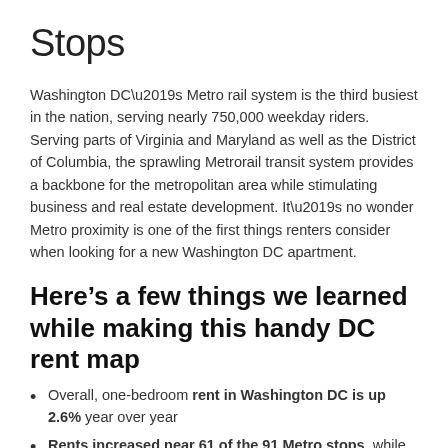Stops
Washington DC’s Metro rail system is the third busiest in the nation, serving nearly 750,000 weekday riders. Serving parts of Virginia and Maryland as well as the District of Columbia, the sprawling Metrorail transit system provides a backbone for the metropolitan area while stimulating business and real estate development. It’s no wonder Metro proximity is one of the first things renters consider when looking for a new Washington DC apartment.
Here’s a few things we learned while making this handy DC rent map
Overall, one-bedroom rent in Washington DC is up 2.6% year over year
Rents increased near 61 of the 91 Metro stops, while